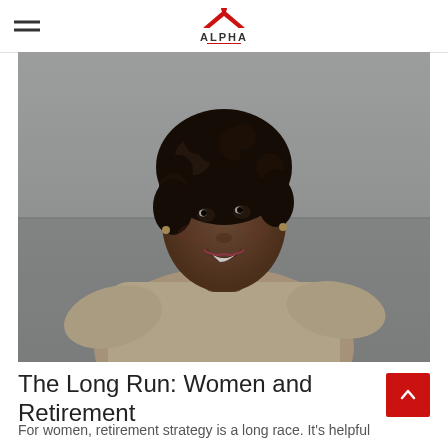ALPHA
[Figure (photo): Portrait photo of a smiling older Black woman with short curly hair, wearing a light beige sweater, looking upward with a serene expression against a blurred outdoor background.]
The Long Run: Women and Retirement
For women, retirement strategy is a long race. It's helpful